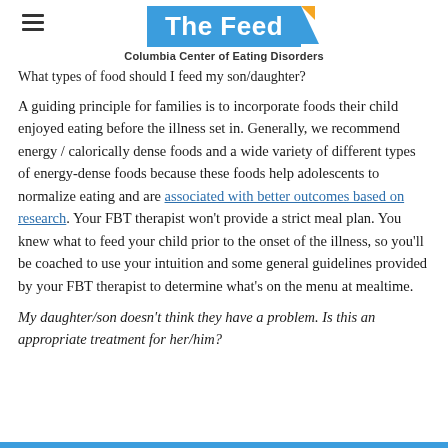The Feed — Columbia Center of Eating Disorders
What types of food should I feed my son/daughter?
A guiding principle for families is to incorporate foods their child enjoyed eating before the illness set in.  Generally, we recommend energy / calorically dense foods and a wide variety of different types of energy-dense foods because these foods help adolescents to normalize eating and are associated with better outcomes based on research.  Your FBT therapist won't provide a strict meal plan.  You knew what to feed your child prior to the onset of the illness, so you'll be coached to use your intuition and some general guidelines provided by your FBT therapist to determine what's on the menu at mealtime.
My daughter/son doesn't think they have a problem.  Is this an appropriate treatment for her/him?